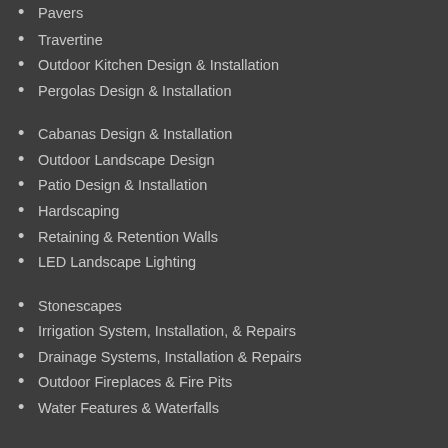Pavers
Travertine
Outdoor Kitchen Design & Installation
Pergolas Design & Installation
Cabanas Design & Installation
Outdoor Landscape Design
Patio Design & Installation
Hardscaping
Retaining & Retention Walls
LED Landscape Lighting
Stonescapes
Irrigation System, Installation, & Repairs
Drainage Systems, Installation & Repairs
Outdoor Fireplaces & Fire Pits
Water Features & Waterfalls